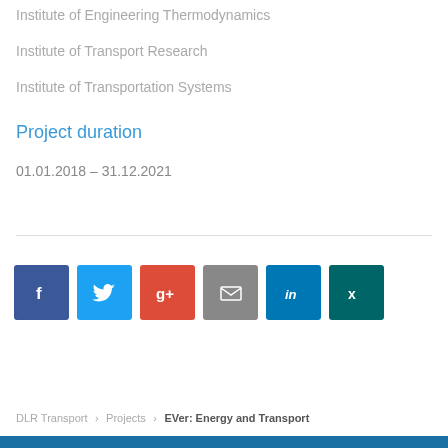Institute of Engineering Thermodynamics
Institute of Transport Research
Institute of Transportation Systems
Project duration
01.01.2018 – 31.12.2021
[Figure (infographic): Social media sharing buttons: Facebook, Twitter, Google+, Email, LinkedIn, XING]
DLR Transport › Projects › EVer: Energy and Transport